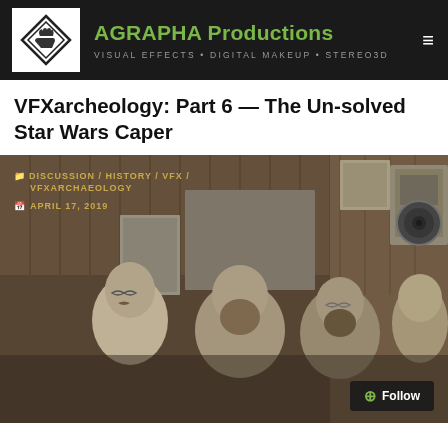AGRAPHA Productions — VISUAL EFFECTS • DIGITAL MAKEUP • STEREO3D
VFXarcheology: Part 6 — The Un-solved Star Wars Caper
[Figure (photo): Black-and-white vintage photo of several men with beards in what appears to be a cluttered workshop or studio with wood-paneled walls, audio equipment, and a large speaker. Overlaid with category tags DISCUSSION / HISTORY / VFX / VFXARCHAEOLOGY and date APRIL 17, 2019.]
DISCUSSION / HISTORY / VFX / VFXARCHAEOLOGY
APRIL 17, 2019